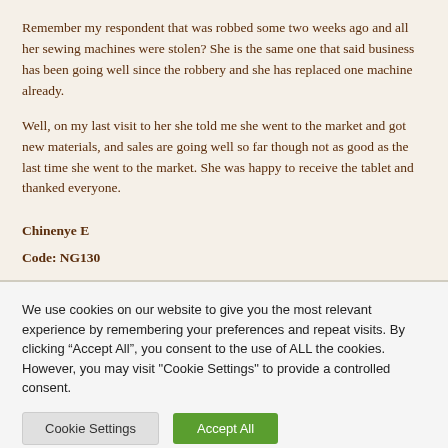Remember my respondent that was robbed some two weeks ago and all her sewing machines were stolen? She is the same one that said business has been going well since the robbery and she has replaced one machine already.
Well, on my last visit to her she told me she went to the market and got new materials, and sales are going well so far though not as good as the last time she went to the market. She was happy to receive the tablet and thanked everyone.
Chinenye E
Code: NG130
We use cookies on our website to give you the most relevant experience by remembering your preferences and repeat visits. By clicking “Accept All”, you consent to the use of ALL the cookies. However, you may visit “Cookie Settings” to provide a controlled consent.